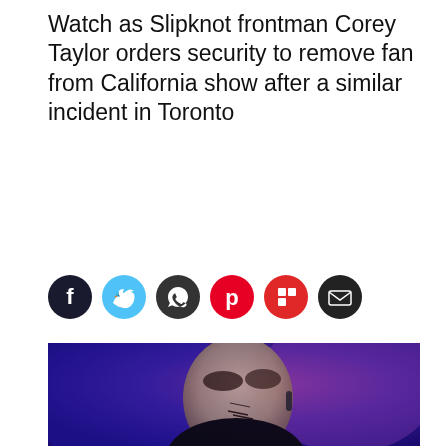Watch as Slipknot frontman Corey Taylor orders security to remove fan from California show after a similar incident in Toronto
[Figure (other): Social media share buttons: Facebook (dark blue circle with f), Twitter (light blue circle with bird), WhatsApp (dark circle with phone), Pinterest (red circle with P), Flipboard (red circle with f), Email (dark circle with envelope)]
[Figure (photo): Corey Taylor of Slipknot performing on stage, wearing a white theatrical mask with dark stitched markings around the mouth, photographed against a deep blue and purple stage lighting background. He is wearing a black outfit.]